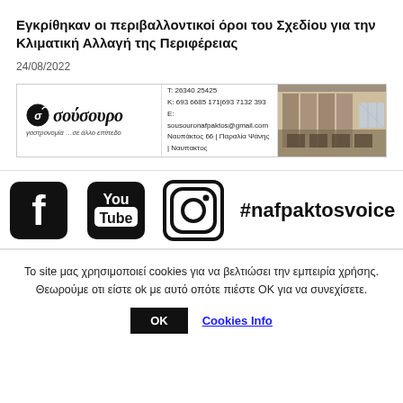Εγκρίθηκαν οι περιβαλλοντικοί όροι του Σχεδίου για την Κλιματική Αλλαγή της Περιφέρειας
24/08/2022
[Figure (advertisement): Advertisement banner for 'σούσουρο' restaurant with logo, contact details (T: 26340 25425, K: 693 6685 171 | 693 7132 393, E: sousouronafpaktos@gmail.com, Ναυπάκτος 66 | Παραλία Ψάνης | Ναυπακτος) and a photo of the restaurant interior]
[Figure (infographic): Social media icons: Facebook, YouTube, Instagram with hashtag #nafpaktosvoice]
Το site μας χρησιμοποιεί cookies για να βελτιώσει την εμπειρία χρήσης. Θεωρούμε οτι είστε ok με αυτό οπότε πιέστε ΟΚ για να συνεχίσετε.
OK   Cookies Info